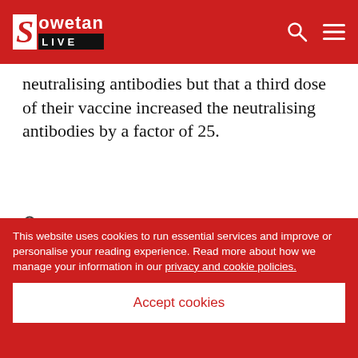Sowetan LIVE
neutralising antibodies but that a third dose of their vaccine increased the neutralising antibodies by a factor of 25.
Join the conversation
Have Your Say. Leave A Comment Below And Let Us Know What You Think.
This website uses cookies to run essential services and improve or personalise your reading experience. Read more about how we manage your information in our privacy and cookie policies.
Accept cookies